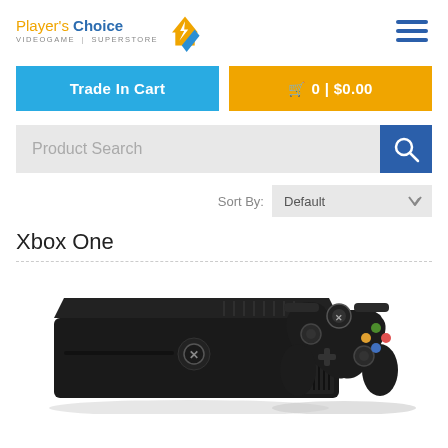[Figure (logo): Player's Choice Videogame Superstore logo with orange and blue text and a house/lightning bolt icon]
Trade In Cart
0 | $0.00
Product Search
Sort By: Default
Xbox One
[Figure (photo): Xbox One console and controller photo]